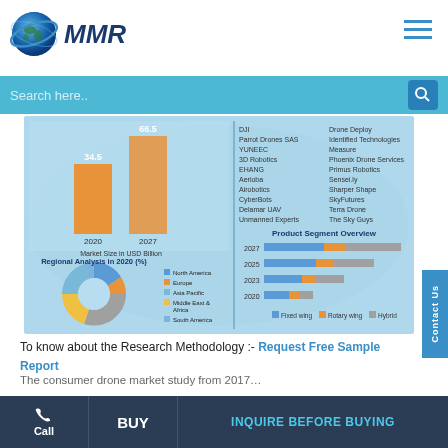[Figure (logo): MMR globe logo with blue globe and MMR text in dark blue italic]
[Figure (screenshot): Market research infographic showing bar chart with 2020 (34.5) and 2027 (66.5) market size in USD Billion, donut chart for Regional Analysis in 2020, Product Segment Overview horizontal bar chart for years 2020-2027 with Fixed wing, Rotary wing, Hybrid segments, and list of company names]
To know about the Research Methodology :- Request Free Sample Report
The consumer drone market study from 2017...
Call  BUY  INQUIRE BEFORE BUYING